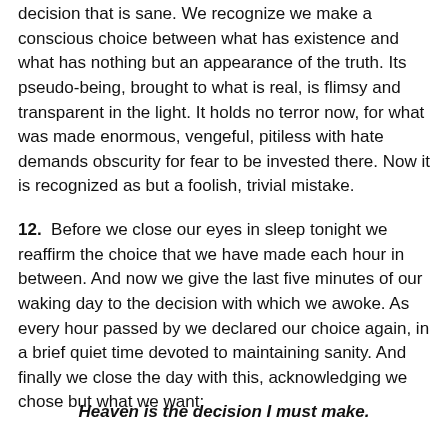decision that is sane. We recognize we make a conscious choice between what has existence and what has nothing but an appearance of the truth. Its pseudo-being, brought to what is real, is flimsy and transparent in the light. It holds no terror now, for what was made enormous, vengeful, pitiless with hate demands obscurity for fear to be invested there. Now it is recognized as but a foolish, trivial mistake.
12.  Before we close our eyes in sleep tonight we reaffirm the choice that we have made each hour in between. And now we give the last five minutes of our waking day to the decision with which we awoke. As every hour passed by we declared our choice again, in a brief quiet time devoted to maintaining sanity. And finally we close the day with this, acknowledging we chose but what we want:
Heaven is the decision I must make.